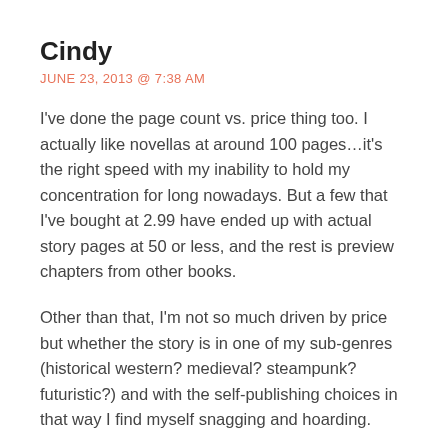Cindy
JUNE 23, 2013 @ 7:38 AM
I've done the page count vs. price thing too. I actually like novellas at around 100 pages…it's the right speed with my inability to hold my concentration for long nowadays. But a few that I've bought at 2.99 have ended up with actual story pages at 50 or less, and the rest is preview chapters from other books.
Other than that, I'm not so much driven by price but whether the story is in one of my sub-genres (historical western? medieval? steampunk? futuristic?) and with the self-publishing choices in that way I find myself snagging and hoarding.